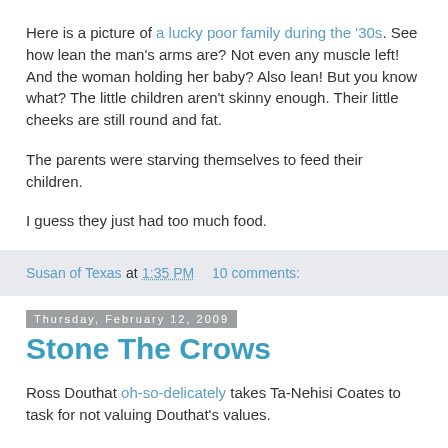Here is a picture of a lucky poor family during the '30s. See how lean the man's arms are? Not even any muscle left! And the woman holding her baby? Also lean! But you know what? The little children aren't skinny enough. Their little cheeks are still round and fat.
The parents were starving themselves to feed their children.
I guess they just had too much food.
Susan of Texas at 1:35 PM    10 comments:
Thursday, February 12, 2009
Stone The Crows
Ross Douthat oh-so-delicately takes Ta-Nehisi Coates to task for not valuing Douthat's values.